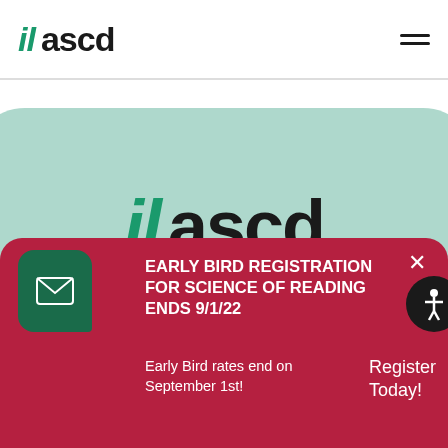il ascd
[Figure (logo): IL ASCD logo in hero area with mint green background - 'il' in green italic bold and 'ascd' in black bold]
We offer leadership institutes, workshops,
EARLY BIRD REGISTRATION FOR SCIENCE OF READING ENDS 9/1/22
Early Bird rates end on September 1st!
Register Today!